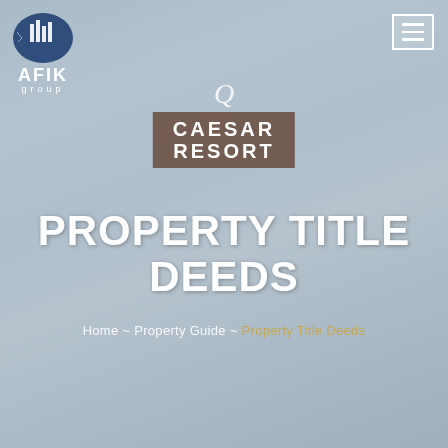[Figure (photo): Background photo of people walking in front of Caesar Resort building, overlaid with a blue-grey tint. Four adults in casual white summer clothing outside a resort entrance.]
PROPERTY TITLE DEEDS
Home ~ Property Guide ~ Property Title Deeds